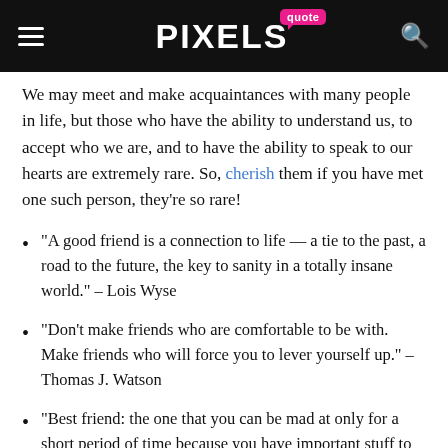quote PIXELS
We may meet and make acquaintances with many people in life, but those who have the ability to understand us, to accept who we are, and to have the ability to speak to our hearts are extremely rare. So, cherish them if you have met one such person, they're so rare!
“A good friend is a connection to life — a tie to the past, a road to the future, the key to sanity in a totally insane world.” – Lois Wyse
“Don’t make friends who are comfortable to be with. Make friends who will force you to lever yourself up.” – Thomas J. Watson
“Best friend: the one that you can be mad at only for a short period of time because you have important stuff to tell them.” –